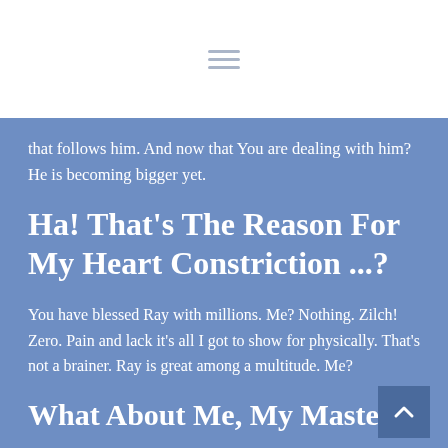[Figure (other): Hamburger menu icon (three horizontal lines) on white background at top of page]
that follows him. And now that You are dealing with him? He is becoming bigger yet.
Ha! That's The Reason For My Heart Constriction ...?
You have blessed Ray with millions. Me? Nothing. Zilch! Zero. Pain and lack it's all I got to show for physically. That's not a brainer. Ray is great among a multitude. Me?
What About Me, My Master? ...